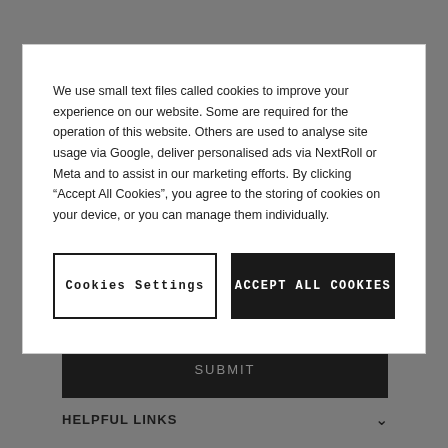We use small text files called cookies to improve your experience on our website. Some are required for the operation of this website. Others are used to analyse site usage via Google, deliver personalised ads via NextRoll or Meta and to assist in our marketing efforts. By clicking “Accept All Cookies”, you agree to the storing of cookies on your device, or you can manage them individually.
Cookies Settings
ACCEPT ALL COOKIES
SUBMIT
HELPFUL LINKS